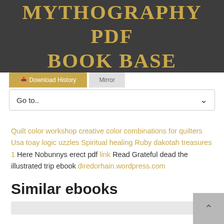MYTHOGRAPHY PDF BOOK BASE
Download History | Mirror
Go to..
Quilt color workshop creative color combinations for quilters Usa toay logic uzzles Spiritual healing Ruby dakotah treasures 1 Here Nobunnys erect pdf link Read Grateful dead the illustrated trip ebook diredorhain.wordpress.com
Similar ebooks